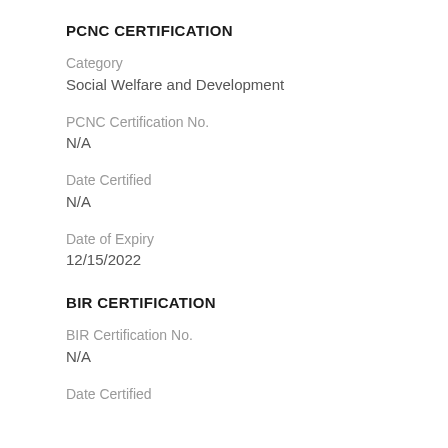PCNC CERTIFICATION
Category
Social Welfare and Development
PCNC Certification No.
N/A
Date Certified
N/A
Date of Expiry
12/15/2022
BIR CERTIFICATION
BIR Certification No.
N/A
Date Certified